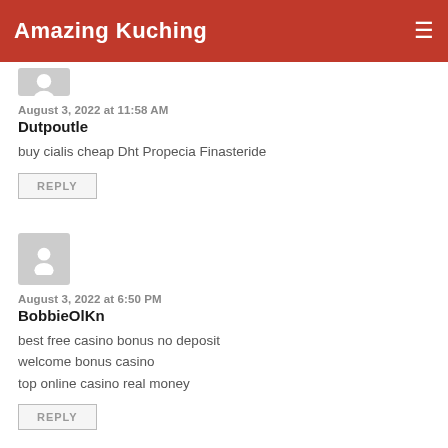Amazing Kuching
[Figure (illustration): Gray avatar/profile placeholder icon (partially visible at top)]
August 3, 2022 at 11:58 AM
Dutpoutle
buy cialis cheap Dht Propecia Finasteride
REPLY
[Figure (illustration): Gray avatar/profile placeholder icon]
August 3, 2022 at 6:50 PM
BobbieOlKn
best free casino bonus no deposit
welcome bonus casino
top online casino real money
REPLY